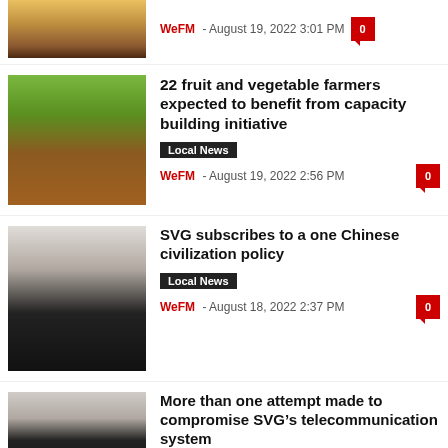[Figure (photo): Partial photo of a man in a suit at the top]
WeFM - August 19, 2022 3:01 PM
[Figure (photo): Photo of a farm field with workers]
22 fruit and vegetable farmers expected to benefit from capacity building initiative
Local News
WeFM - August 19, 2022 2:56 PM
[Figure (photo): Photo of an older man with glasses at a podium]
SVG subscribes to a one Chinese civilization policy
Local News
WeFM - August 18, 2022 2:37 PM
[Figure (photo): Photo of a man with glasses]
More than one attempt made to compromise SVG’s telecommunication system
Local News